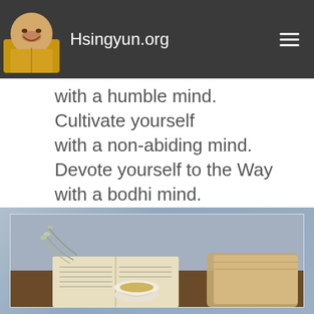Hsingyun.org
with a humble mind.
Cultivate yourself
with a non-abiding mind.
Devote yourself to the Way
with a bodhi mind.
[Figure (photo): A photo showing an open book, dried flowers/herbs, a small white tea cup with tea, and a rolled piece of burlap fabric on a wooden surface, with a muted blue-purple background.]